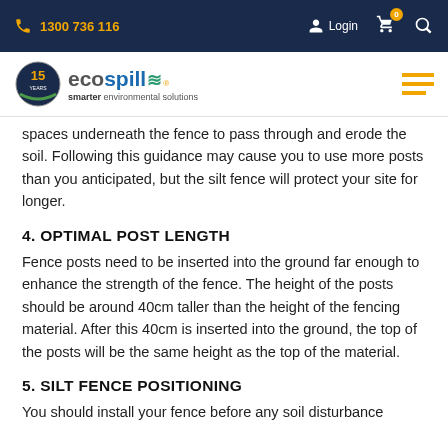1300 736 116 | Login | Cart (0) | Search
[Figure (logo): EcoSpill logo — 15 years badge, 'eco' in grey, 'spill' in blue with wave marks, tagline 'smarter environmental solutions']
spaces underneath the fence to pass through and erode the soil. Following this guidance may cause you to use more posts than you anticipated, but the silt fence will protect your site for longer.
4. OPTIMAL POST LENGTH
Fence posts need to be inserted into the ground far enough to enhance the strength of the fence. The height of the posts should be around 40cm taller than the height of the fencing material. After this 40cm is inserted into the ground, the top of the posts will be the same height as the top of the material.
5. SILT FENCE POSITIONING
You should install your fence before any soil disturbance